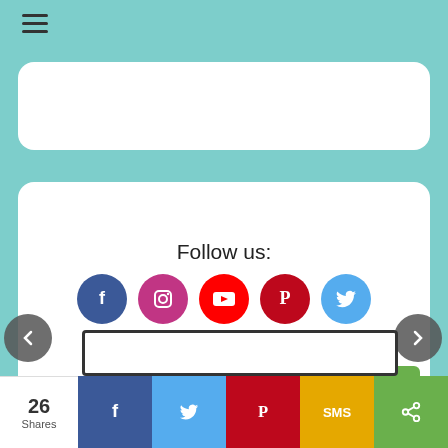[Figure (screenshot): Hamburger menu icon (three horizontal lines) on teal background header bar]
Follow us:
[Figure (infographic): Row of social media circular icons: Facebook (blue), Instagram (purple), YouTube (red), Pinterest (dark red), Twitter (light blue)]
[Figure (infographic): Share bar with count '26 Shares' and share buttons: Facebook (blue), Twitter (light blue), Pinterest (red), Email (gray), Share (green)]
[Figure (infographic): Bottom sticky share bar with '26 Shares' count and buttons: Facebook (dark blue), Twitter (light blue), Pinterest (red), SMS (yellow), Share (green)]